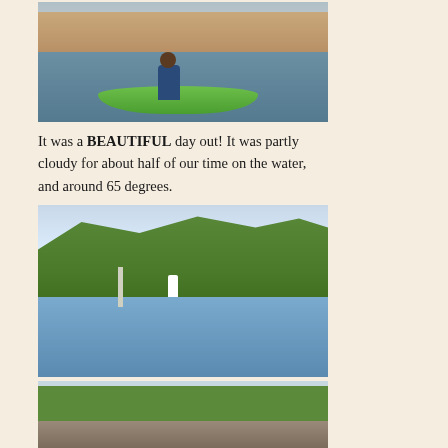[Figure (photo): Person kayaking in a green kayak on the water with marina buildings and docked boats in the background under a partly cloudy sky]
It was a BEAUTIFUL day out! It was partly cloudy for about half of our time on the water, and around 65 degrees.
[Figure (photo): A waterway with green-vegetated hillside and a white egret bird standing near the water's edge with a post marker visible]
[Figure (photo): Shoreline with rocks, vegetation and shrubs along the water edge]